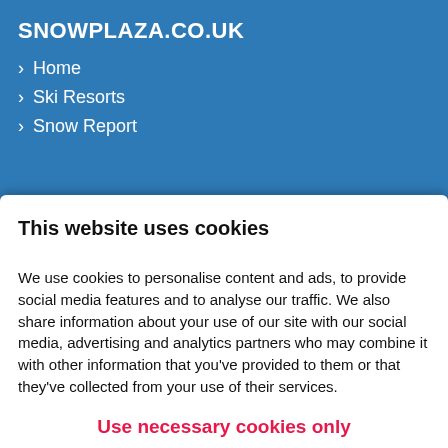SNOWPLAZA.CO.UK
› Home
› Ski Resorts
› Snow Report
This website uses cookies
We use cookies to personalise content and ads, to provide social media features and to analyse our traffic. We also share information about your use of our site with our social media, advertising and analytics partners who may combine it with other information that you've provided to them or that they've collected from your use of their services.
Use necessary cookies only
Allow all cookies
› Val d'Isere
› Morzine
› Val Thorens
› Tignes
› Innsbruck